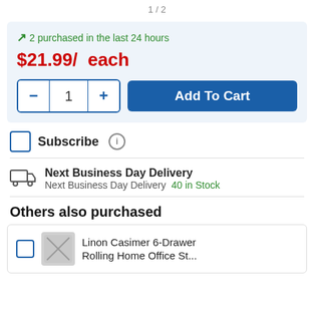1 / 2
2 purchased in the last 24 hours
$21.99/ each
Add To Cart
Subscribe
Next Business Day Delivery
Next Business Day Delivery  40 in Stock
Others also purchased
Linon Casimer 6-Drawer Rolling Home Office St...